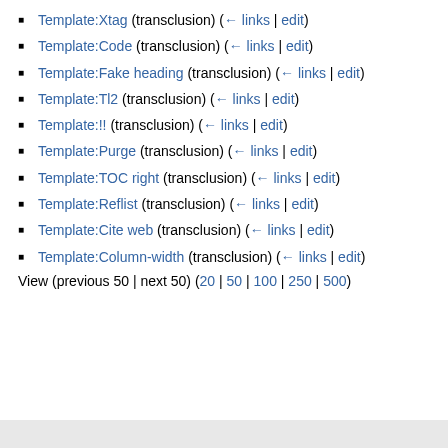Template:Xtag (transclusion) (← links | edit)
Template:Code (transclusion) (← links | edit)
Template:Fake heading (transclusion) (← links | edit)
Template:Tl2 (transclusion) (← links | edit)
Template:!! (transclusion) (← links | edit)
Template:Purge (transclusion) (← links | edit)
Template:TOC right (transclusion) (← links | edit)
Template:Reflist (transclusion) (← links | edit)
Template:Cite web (transclusion) (← links | edit)
Template:Column-width (transclusion) (← links | edit)
View (previous 50 | next 50) (20 | 50 | 100 | 250 | 500)